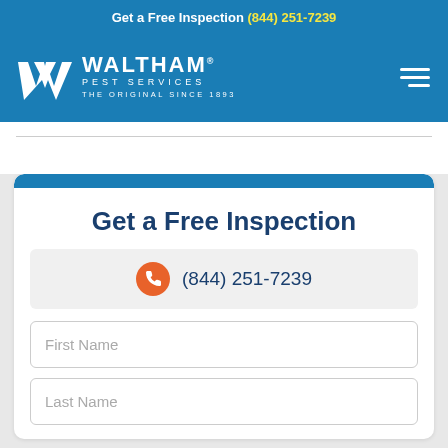Get a Free Inspection (844) 251-7239
[Figure (logo): Waltham Pest Services logo - W chevron icon with text WALTHAM PEST SERVICES THE ORIGINAL SINCE 1893 on blue background]
Get a Free Inspection
(844) 251-7239
First Name
Last Name